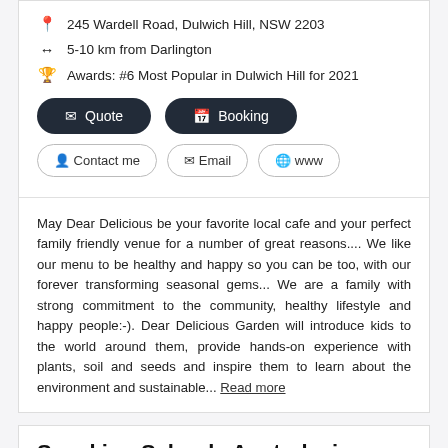245 Wardell Road, Dulwich Hill, NSW 2203
5-10 km from Darlington
Awards: #6 Most Popular in Dulwich Hill for 2021
Quote button
Booking button
Contact me button
Email button
www button
May Dear Delicious be your favorite local cafe and your perfect family friendly venue for a number of great reasons.... We like our menu to be healthy and happy so you can be too, with our forever transforming seasonal gems... We are a family with strong commitment to the community, healthy lifestyle and happy people:-). Dear Delicious Garden will introduce kids to the world around them, provide hands-on experience with plants, soil and seeds and inspire them to learn about the environment and sustainable... Read more
Speaking Schools Australasia
Education > Public speaking classes & lessons